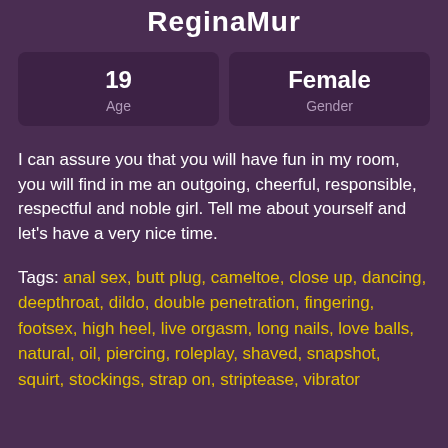ReginaMur
| Age | Gender |
| --- | --- |
| 19 | Female |
I can assure you that you will have fun in my room, you will find in me an outgoing, cheerful, responsible, respectful and noble girl. Tell me about yourself and let's have a very nice time.
Tags:  anal sex, butt plug, cameltoe, close up, dancing, deepthroat, dildo, double penetration, fingering, footsex, high heel, live orgasm, long nails, love balls, natural, oil, piercing, roleplay, shaved, snapshot, squirt, stockings, strap on, striptease, vibrator